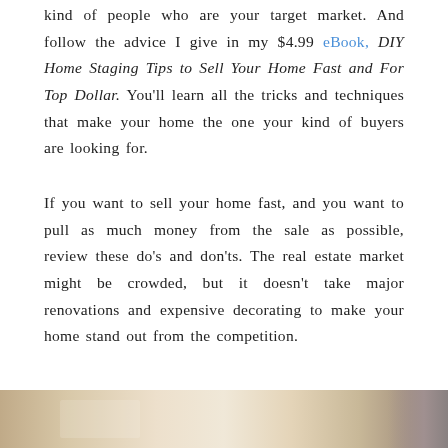kind of people who are your target market. And follow the advice I give in my $4.99 eBook, DIY Home Staging Tips to Sell Your Home Fast and For Top Dollar. You'll learn all the tricks and techniques that make your home the one your kind of buyers are looking for.
If you want to sell your home fast, and you want to pull as much money from the sale as possible, review these do's and don'ts. The real estate market might be crowded, but it doesn't take major renovations and expensive decorating to make your home stand out from the competition.
[Figure (photo): Partial view of a room interior, appears to show home staging photo, cropped at bottom of page]